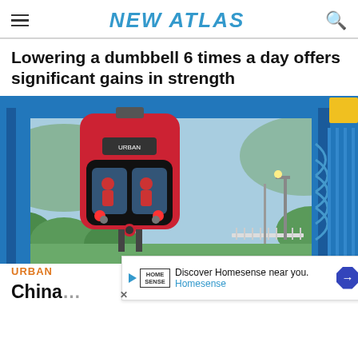NEW ATLAS
Lowering a dumbbell 6 times a day offers significant gains in strength
[Figure (photo): A red suspended monorail train car hanging from a blue elevated track structure, with trees and mountains visible in the background.]
URBAN
Discover Homesense near you. Homesense
China... n